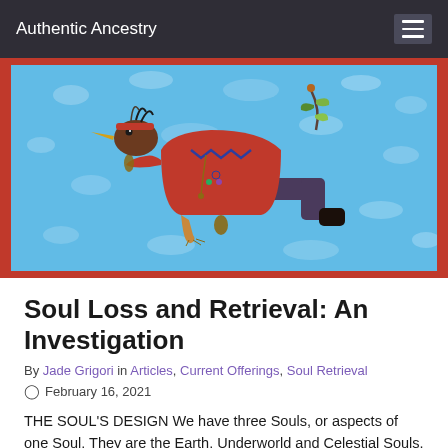Authentic Ancestry
[Figure (illustration): Indigenous-style illustration of a figure with an eagle/bird head wearing a red coat and dark pants, floating horizontally against a blue textured background, within a red border frame.]
Soul Loss and Retrieval: An Investigation
By Jade Grigori in Articles, Current Offerings, Soul Retrieval
February 16, 2021
THE SOUL'S DESIGN We have three Souls, or aspects of one Soul. They are the Earth, Underworld and Celestial Souls. The Earth Soul is the one that we can most Act...